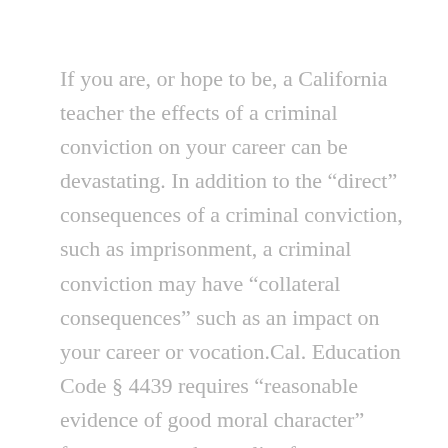If you are, or hope to be, a California teacher the effects of a criminal conviction on your career can be devastating. In addition to the “direct” consequences of a criminal conviction, such as imprisonment, a criminal conviction may have “collateral consequences” such as an impact on your career or vocation.Cal. Education Code § 4439 requires “reasonable evidence of good moral character” from anyone who applies for, or renews, their teaching credential. Additionally, applicants and credentialed teachers who want to renew their credential can be required to produce information, records, reports and other data from any public agency, including law enforcement agencies. The California Dept. of